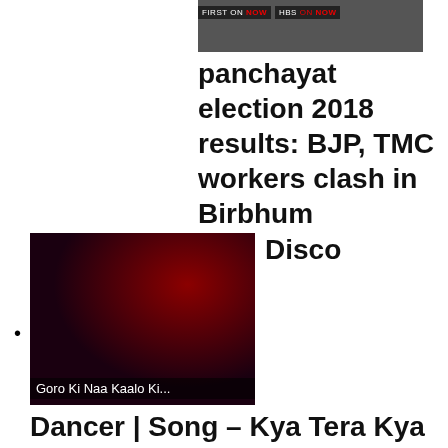[Figure (screenshot): Thumbnail image showing news channel 'FIRST ON NOW' and 'HBS ON NOW' logos]
panchayat election 2018 results: BJP, TMC workers clash in Birbhum
[Figure (screenshot): Video thumbnail showing man's face with red disco lighting and text overlay 'Goro Ki Naa Kaalo Ki...']
Disco Dancer | Song – Kya Tera Kya Mera
[Figure (screenshot): Movie poster/thumbnail for Bioscopewala Title Song showing people in street scene]
Bioscopewala – Title Song